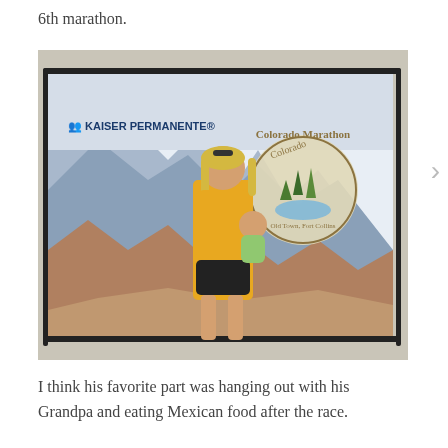6th marathon.
[Figure (photo): A woman in a yellow top and black shorts holding a baby in a green outfit, standing in front of a Colorado Marathon / Kaiser Permanente event backdrop banner. The banner shows a painted mountain and river scene. Text on banner reads 'KAISER PERMANENTE' and 'Colorado Marathon, Old Town, Fort Collins'.]
I think his favorite part was hanging out with his Grandpa and eating Mexican food after the race.